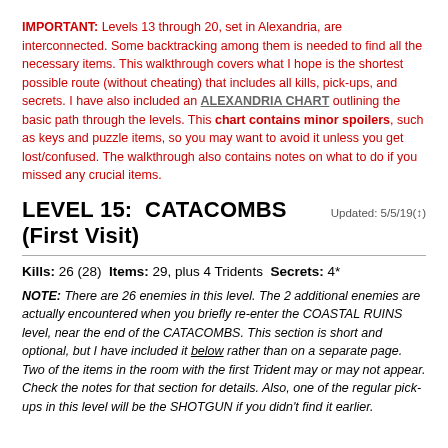IMPORTANT: Levels 13 through 20, set in Alexandria, are interconnected. Some backtracking among them is needed to find all the necessary items. This walkthrough covers what I hope is the shortest possible route (without cheating) that includes all kills, pick-ups, and secrets. I have also included an ALEXANDRIA CHART outlining the basic path through the levels. This chart contains minor spoilers, such as keys and puzzle items, so you may want to avoid it unless you get lost/confused. The walkthrough also contains notes on what to do if you missed any crucial items.
LEVEL 15: CATACOMBS (First Visit)  Updated: 5/5/19(↕)
Kills: 26 (28)  Items: 29, plus 4 Tridents  Secrets: 4*
NOTE: There are 26 enemies in this level. The 2 additional enemies are actually encountered when you briefly re-enter the COASTAL RUINS level, near the end of the CATACOMBS. This section is short and optional, but I have included it below rather than on a separate page. Two of the items in the room with the first Trident may or may not appear. Check the notes for that section for details. Also, one of the regular pick-ups in this level will be the SHOTGUN if you didn't find it earlier.